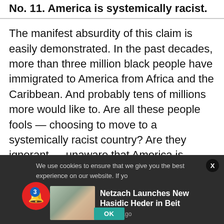No. 11. America is systemically racist.
The manifest absurdity of this claim is easily demonstrated. In the past decades, more than three million black people have immigrated to America from Africa and the Caribbean. And probably tens of millions more would like to. Are all these people fools — choosing to move to a systemically racist country? Are they ignorant — unaware that America is systemically racist?
We use cookies to ensure that we give you the best experience on our website. If yo
Netzach Launches New Hasidic Heder in Beit
9 hours ago